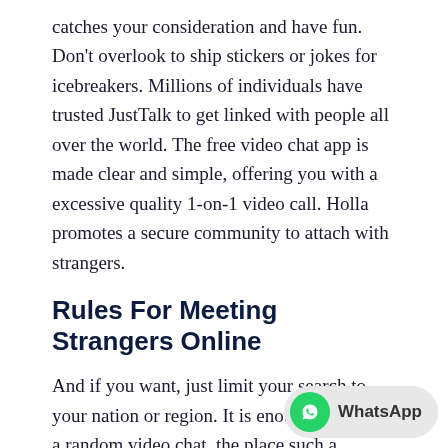catches your consideration and have fun. Don't overlook to ship stickers or jokes for icebreakers. Millions of individuals have trusted JustTalk to get linked with people all over the world. The free video chat app is made clear and simple, offering you with a excessive quality 1-on-1 video call. Holla promotes a secure community to attach with strangers.
Rules For Meeting Strangers Online
And if you want, just limit your search to your nation or region. It is enough to choose a random video chat, the place such a function is offered chatspin. The app lets you make and obtain video calls, send and obtain messages, engage in chat periods, and so much more.
Prime Greatest Random Video Chat Apps
There are countless FREE and LIVE online cha... available. Coming with totally different names and options,